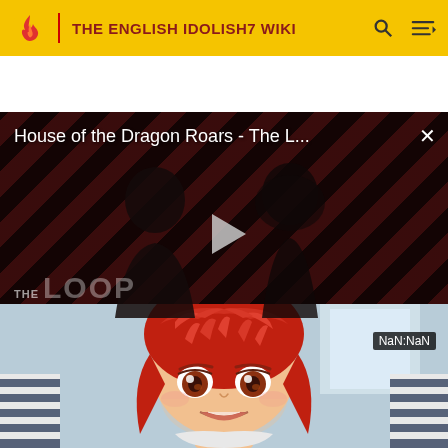THE ENGLISH IDOLISH7 WIKI
[Figure (screenshot): Video advertisement overlay showing 'House of the Dragon Roars - The L...' with a close X button, diagonal red/dark stripe background, two dark human silhouettes, a play button triangle in the center, THE LOOP watermark text at bottom left, and a NaN:NaN timestamp at bottom right]
[Figure (illustration): Anime character with red/orange hair and brown eyes looking up with an open mouth, wearing a light-colored top with dark stripes, partial background showing a window and light-colored walls]